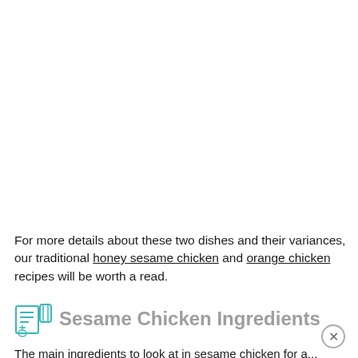For more details about these two dishes and their variances, our traditional honey sesame chicken and orange chicken recipes will be worth a read.
Sesame Chicken Ingredients
The main ingredients to look at in sesame chicken for a...